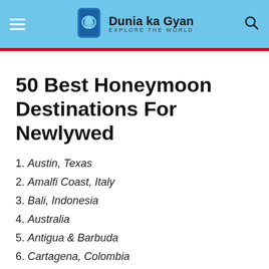Dunia ka Gyan — Explore The World
50 Best Honeymoon Destinations For Newlywed
1. Austin, Texas
2. Amalfi Coast, Italy
3. Bali, Indonesia
4. Australia
5. Antigua & Barbuda
6. Cartagena, Colombia
7. Buenos Aires, Argentina